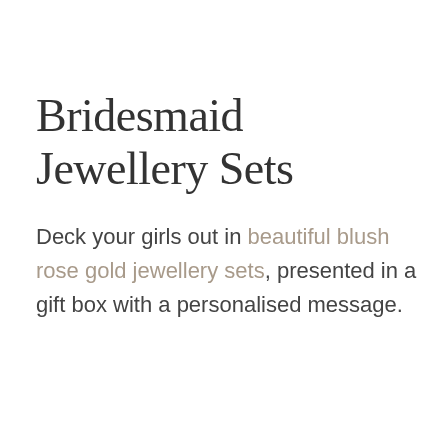Bridesmaid Jewellery Sets
Deck your girls out in beautiful blush rose gold jewellery sets, presented in a gift box with a personalised message.